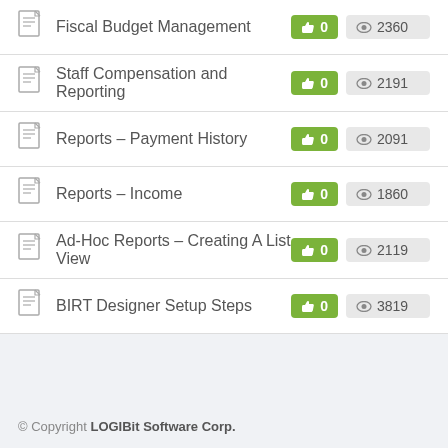Fiscal Budget Management | 0 likes | 2360 views
Staff Compensation and Reporting | 0 likes | 2191 views
Reports – Payment History | 0 likes | 2091 views
Reports – Income | 0 likes | 1860 views
Ad-Hoc Reports – Creating A List View | 0 likes | 2119 views
BIRT Designer Setup Steps | 0 likes | 3819 views
© Copyright LOGIBit Software Corp.